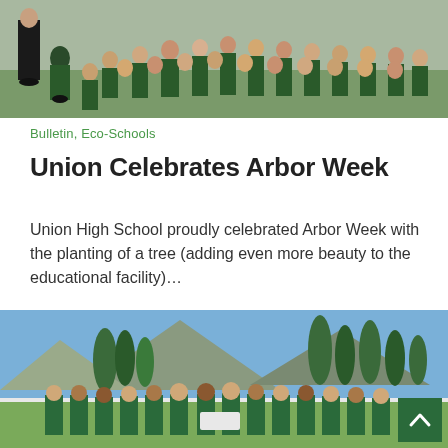[Figure (photo): Students in green school uniforms seated on grass at an outdoor school assembly, viewed from the side. A person in dark clothing stands at the front.]
Bulletin, Eco-Schools
Union Celebrates Arbor Week
Union High School proudly celebrated Arbor Week with the planting of a tree (adding even more beauty to the educational facility)…
[Figure (photo): Group of students in green school uniforms posing outdoors on a sports field with mountains and tall cypress trees in the background, on a sunny day. A green scroll-to-top button is visible in the bottom right corner.]